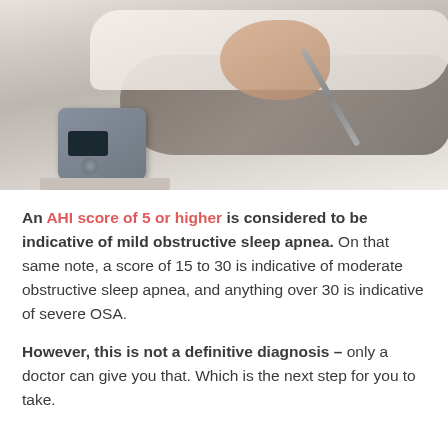[Figure (photo): Person sleeping with CPAP mask and tubing connected to a CPAP machine on a nightstand. The person is lying on white bedding wearing a gray shirt. The CPAP machine is visible in the lower left of the image.]
An AHI score of 5 or higher is considered to be indicative of mild obstructive sleep apnea. On that same note, a score of 15 to 30 is indicative of moderate obstructive sleep apnea, and anything over 30 is indicative of severe OSA.
However, this is not a definitive diagnosis – only a doctor can give you that. Which is the next step for you to take.